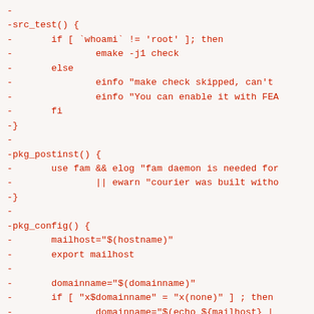-
-src_test() {
-       if [ `whoami` != 'root' ]; then
-               emake -j1 check
-       else
-               einfo "make check skipped, can't
-               einfo "You can enable it with FEA
-       fi
-}
-
-pkg_postinst() {
-       use fam && elog "fam daemon is needed for
-               || ewarn "courier was built witho
-}
-
-pkg_config() {
-       mailhost="$(hostname)"
-       export mailhost
-
-       domainname="$(domainname)"
-       if [ "x$domainname" = "x(none)" ] ; then
-               domainname="$(echo ${mailhost} |